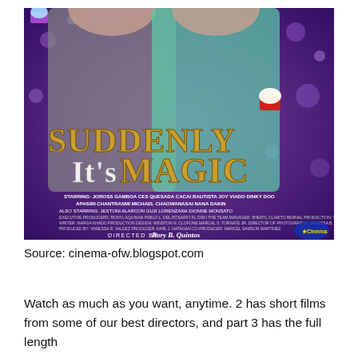[Figure (illustration): Movie poster for 'Suddenly It's Magic', a Filipino film. Purple background with bokeh sparkles. Two actors standing back to back — a man in grey hoodie on the left and a woman in green top on the right holding a red cupcake. Large gold and white stylized text reads 'Suddenly It's Magic'. Credits at bottom include starring: Joross Gamboa, Ces Quesada, Cacai Bautista, Joy Viado, Dinky Doo, Apasiri Chantrasmi, Michael Chaowanasai, Nana Dakin. Also starring: Jestoni Alarcon, Guji Lorenzana, Dionne Monsato. Directed by Rory B. Quintos. Cinema One Originals / Star Cinema logo bottom right.]
Source: cinema-ofw.blogspot.com
Watch as much as you want, anytime. 2 has short films from some of our best directors, and part 3 has the full length